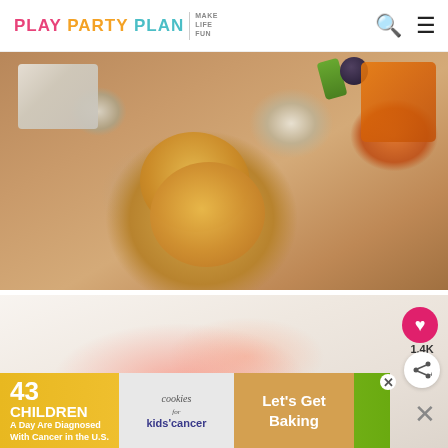PLAY PARTY PLAN | MAKE LIFE FUN
[Figure (photo): Close-up of a charcuterie/cheese board with round crackers in the center, a block of blue cheese on the left, orange cheddar cubes on the top right, a dark grape and green vegetable on a wooden cutting board.]
[Figure (photo): Blurred/defocused photo of what appears to be a charcuterie board with red/pink meats and white elements on a light background.]
1.4K
[Figure (infographic): Advertisement banner: '43 CHILDREN A Day Are Diagnosed With Cancer in the U.S.' with cookies for kids' cancer logo and 'Let's Get Baking' call to action.]